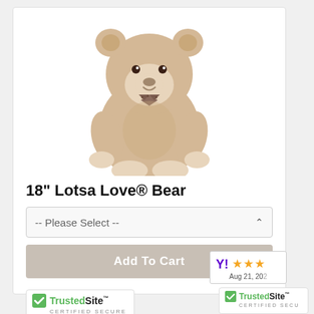[Figure (photo): A light brown plush teddy bear with a checkered bow tie, sitting upright, white background.]
18" Lotsa Love® Bear
[Figure (other): Dropdown selector with placeholder text '-- Please Select --']
[Figure (other): Add To Cart button, gray-beige color]
[Figure (other): TrustedSite Certified Secure badge]
[Figure (other): Yahoo Shopping 3-star rating badge, partially cropped, date Aug 21, 20XX]
[Figure (other): Second TrustedSite badge, partially visible at bottom right]